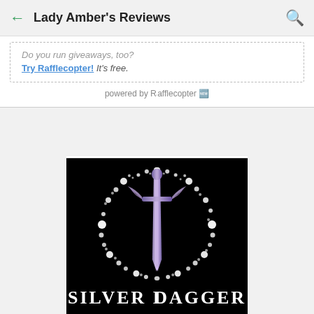Lady Amber's Reviews
Do you run giveaways, too? Try Rafflecopter! It's free.
powered by Rafflecopter
[Figure (logo): Silver Dagger logo: a purple/silver dagger with angel wings surrounded by a circular ring of sparkling diamonds on a black background, with 'SILVER DAGGER' text at the bottom in white serif font.]